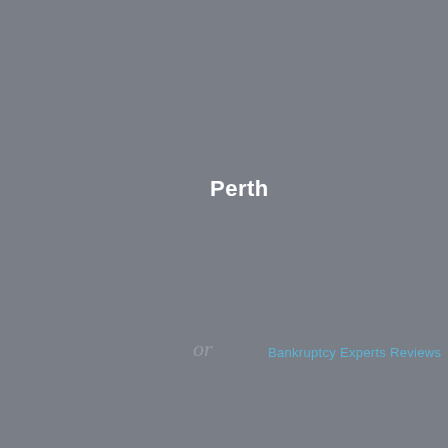Perth
[Figure (logo): Small cursive or symbol logo mark in grey]
Bankruptcy Experts Reviews